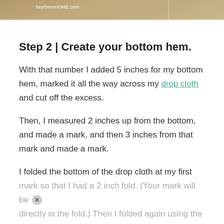[Figure (photo): Top image strip showing carpet/drop cloth texture, split into three panels with 'heythereHOME.com' watermark visible]
Step 2 | Create your bottom hem.
With that number I added 5 inches for my bottom hem, marked it all the way across my drop cloth and cut off the excess.
Then, I measured 2 inches up from the bottom, and made a mark, and then 3 inches from that mark and made a mark.
I folded the bottom of the drop cloth at my first mark so that I had a 2 inch fold. (Your mark will be directly in the fold.) Then I folded again using the